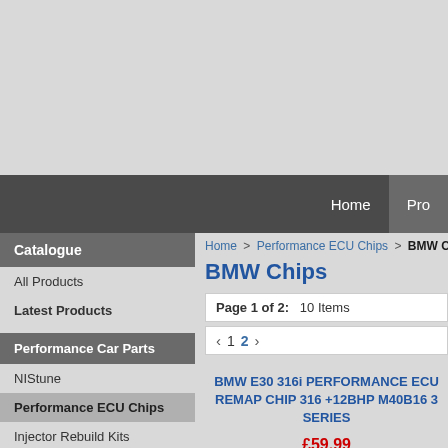Home   Pro
Catalogue
All Products
Latest Products
Performance Car Parts
NIStune
Performance ECU Chips
Injector Rebuild Kits
Performance Car Parts
OBDII Diagnostic Service
Home > Performance ECU Chips > BMW Chip
BMW Chips
Page 1 of 2:   10 Items
1  2
BMW E30 316i PERFORMANCE ECU REMAP CHIP 316 +12BHP M40B16 3 SERIES
£59.99
ADD TO BASKET